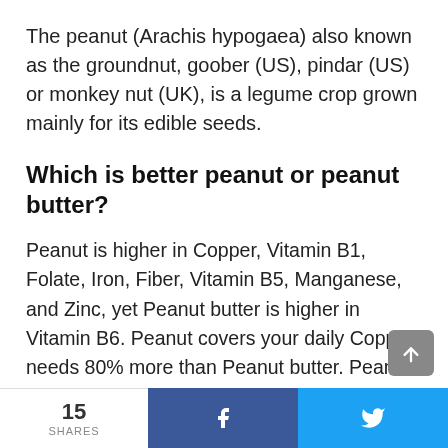The peanut (Arachis hypogaea) also known as the groundnut, goober (US), pindar (US) or monkey nut (UK), is a legume crop grown mainly for its edible seeds.
Which is better peanut or peanut butter?
Peanut is higher in Copper, Vitamin B1, Folate, Iron, Fiber, Vitamin B5, Manganese, and Zinc, yet Peanut butter is higher in Vitamin B6. Peanut covers your daily Copper needs 80% more than Peanut butter. Peanut contains 4 times more Vitamin B1 than Peanut butter.
15 SHARES